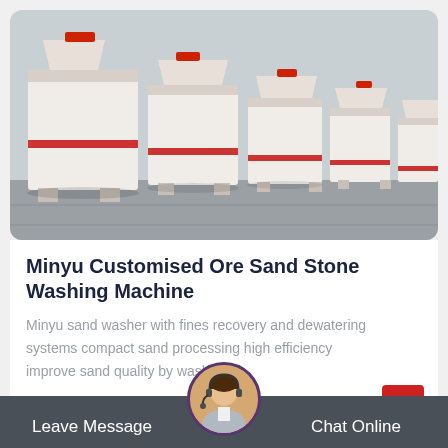[Figure (photo): A row of large white industrial crushing/washing machines with red accent stripes, lined up in a factory or warehouse setting with a grey concrete floor.]
Minyu Customised Ore Sand Stone Washing Machine
Minyu sand washer with fines recovery and dewatering systems compact sand processing high efficiency improve sand quality by wash...
Leave Message  |  Chat Online